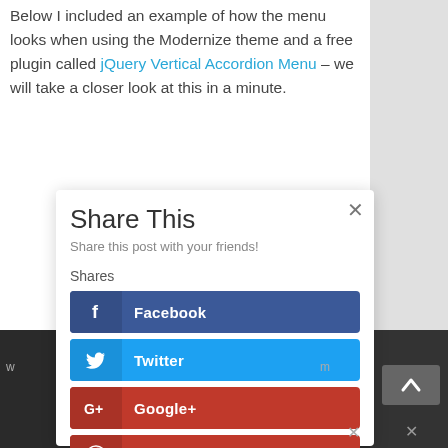Below I included an example of how the menu looks when using the Modernize theme and a free plugin called jQuery Vertical Accordion Menu – we will take a closer look at this in a minute.
[Figure (screenshot): A modal dialog box titled 'Share This' with subtitle 'Share this post with your friends!' containing a 'Shares' label and four social sharing buttons: Facebook (dark blue), Twitter (light blue), Google+ (red), and Pinterest (red). Each button has an icon on the left and the platform name in white bold text. A close (×) button appears in the top-right corner of the modal.]